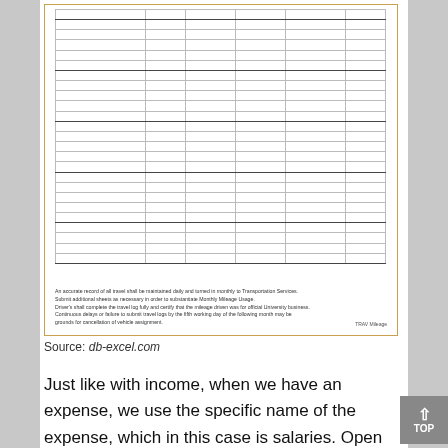[Figure (other): A mileage log form/table with multiple empty rows and columns for recording daily travel, with footnote text at the bottom explaining submission requirements.]
Source: db-excel.com
Just like with income, when we have an expense, we use the specific name of the expense, which in this case is salaries. Open the application, click on “file” and then select “new”.